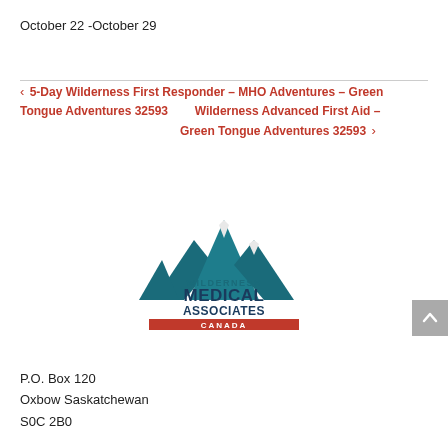October 22 -October 29
< 5-Day Wilderness First Responder – MHO Adventures – Green Tongue Adventures 32593 >
[Figure (logo): Wilderness Medical Associates Canada logo — mountain silhouette in teal above red text banner]
P.O. Box 120
Oxbow Saskatchewan
S0C 2B0